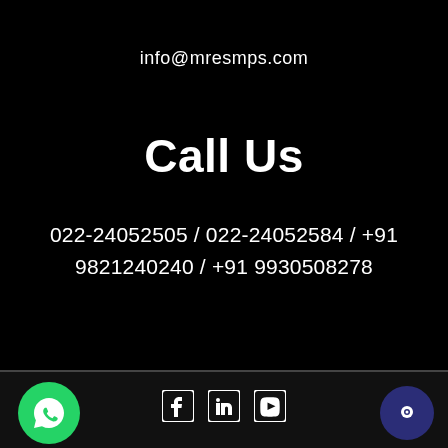info@mresmps.com
Call Us
022-24052505 / 022-24052584 / +91 9821240240 / +91 9930508278
[Figure (logo): WhatsApp green circular button with phone handset icon]
[Figure (logo): Social media icons: Facebook, LinkedIn, YouTube]
[Figure (logo): Dark blue circular chat/support button]